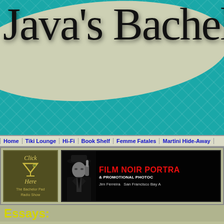Java's Bachelor
Home | Tiki Lounge | Hi-Fi | Book Shelf | Femme Fatales | Martini Hide-Away
[Figure (logo): Left banner ad: Click Here - The Bachelor Pad Radio Show with martini glass icon]
[Figure (photo): Right banner: FILM NOIR PORTRAITS & PROMOTIONAL PHOTOS - Jim Ferreira - San Francisco Bay Area, with noir-style photo of man in hat]
Essays:
If you don't dig "woman talk," you ca... gains a hell of a lot in translation!